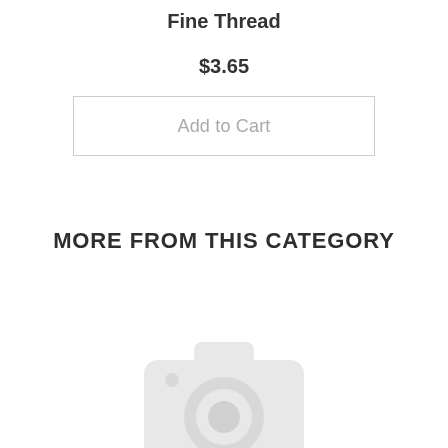Fine Thread
$3.65
Add to Cart
MORE FROM THIS CATEGORY
[Figure (illustration): Camera placeholder icon in light gray, representing a product image placeholder]